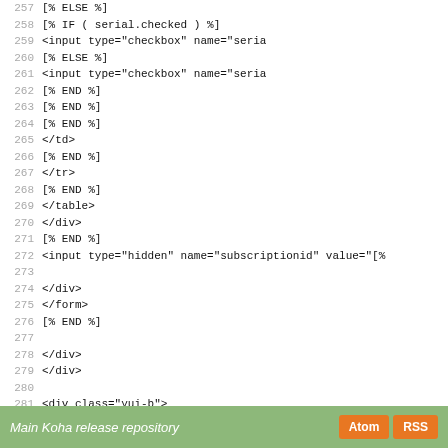Code listing lines 257-285 showing template code with [% ELSE %], [% IF %], [% END %] blocks, HTML input elements, and INCLUDE directives
Main Koha release repository  [Atom] [RSS]